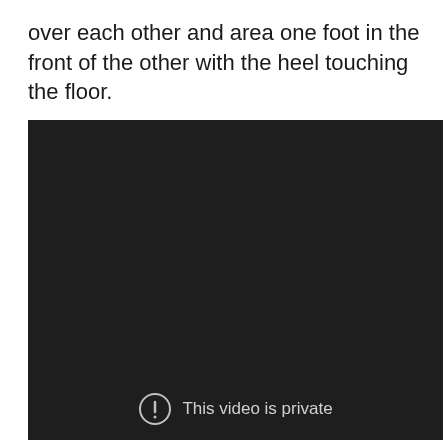over each other and area one foot in the front of the other with the heel touching the floor.
[Figure (screenshot): A dark/black video player showing a private video message. At the bottom center is a circular icon with an exclamation mark followed by the text 'This video is private'.]